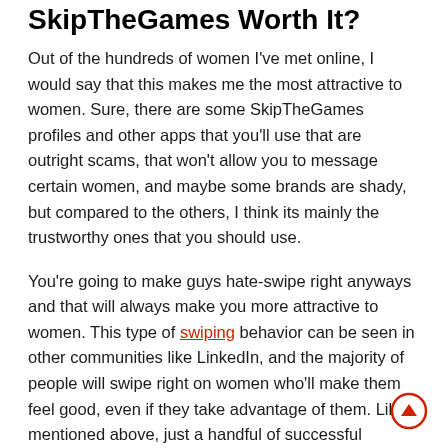Membership: Is Paying For SkipTheGames Worth It?
Out of the hundreds of women I've met online, I would say that this makes me the most attractive to women. Sure, there are some SkipTheGames profiles and other apps that you'll use that are outright scams, that won't allow you to message certain women, and maybe some brands are shady, but compared to the others, I think its mainly the trustworthy ones that you should use.
You're going to make guys hate-swipe right anyways and that will always make you more attractive to women. This type of swiping behavior can be seen in other communities like LinkedIn, and the majority of people will swipe right on women who'll make them feel good, even if they take advantage of them. Like I mentioned above, just a handful of successful relationships I've had were solely due to these apps.